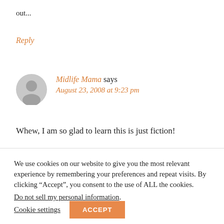out...
Reply
Midlife Mama says
August 23, 2008 at 9:23 pm
Whew, I am so glad to learn this is just fiction!
We use cookies on our website to give you the most relevant experience by remembering your preferences and repeat visits. By clicking “Accept”, you consent to the use of ALL the cookies. Do not sell my personal information.
Cookie settings  ACCEPT